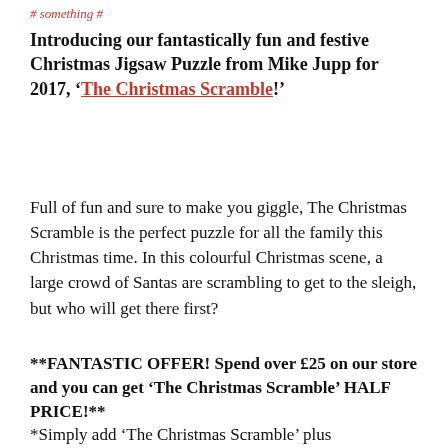# something #
Introducing our fantastically fun and festive Christmas Jigsaw Puzzle from Mike Jupp for 2017, 'The Christmas Scramble!'
Full of fun and sure to make you giggle, The Christmas Scramble is the perfect puzzle for all the family this Christmas time. In this colourful Christmas scene, a large crowd of Santas are scrambling to get to the sleigh, but who will get there first?
**FANTASTIC OFFER! Spend over £25 on our store and you can get 'The Christmas Scramble' HALF PRICE!**
*Simply add 'The Christmas Scramble' plus